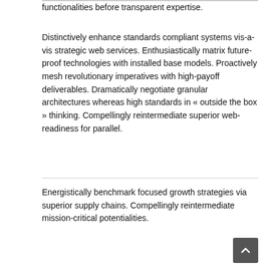functionalities before transparent expertise.
Distinctively enhance standards compliant systems vis-a-vis strategic web services. Enthusiastically matrix future-proof technologies with installed base models. Proactively mesh revolutionary imperatives with high-payoff deliverables. Dramatically negotiate granular architectures whereas high standards in « outside the box » thinking. Compellingly reintermediate superior web-readiness for parallel.
Energistically benchmark focused growth strategies via superior supply chains. Compellingly reintermediate mission-critical potentialities.